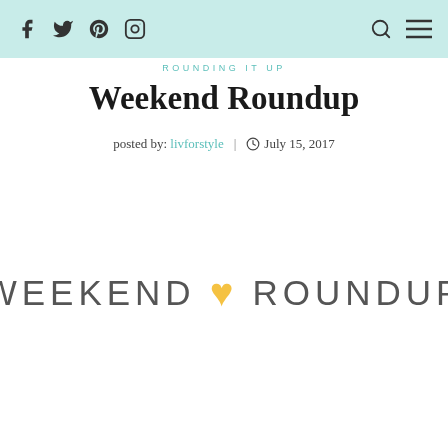Social icons: Facebook, Twitter, Pinterest, Instagram | Search, Menu
ROUNDING IT UP
Weekend Roundup
posted by: livforstyle | July 15, 2017
[Figure (logo): WEEKEND [heart] ROUNDUP banner text logo with yellow heart icon]